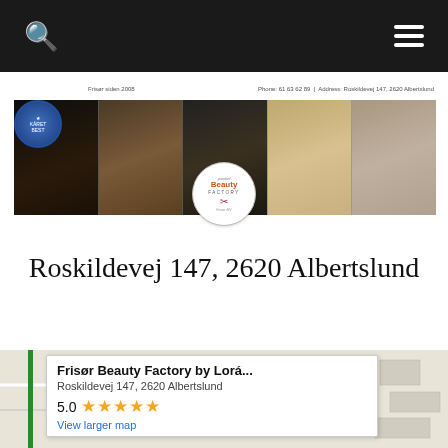Navigation bar with search and menu icons
[Figure (photo): Banner image of a hair salon showing scissors and hair styling photos, with Beauty Factory logo circle overlay, blue badge, subtext 'Frisør siden 2008', and contact info 'Phone: 61 63 62 89 | Address: Roskildevej 147, 2620 Albertslund']
Roskildevej 147, 2620 Albertslund
[Figure (map): Google Maps partial screenshot showing Frisør Beauty Factory by Lorá... location at Roskildevej 147, 2620 Albertslund with 5.0 star rating and 'View larger map' link]